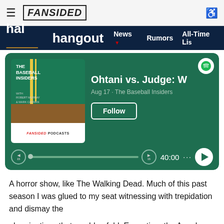FanSided | Halo Hangout – News · Rumors · All-Time Lists
[Figure (screenshot): Spotify podcast embed for 'The Baseball Insiders' episode 'Ohtani vs. Judge: W…', Aug 17, with Follow button and 40:00 timer]
A horror show, like The Walking Dead. Much of this past season I was glued to my seat witnessing with trepidation and dismay the
abominations that would unfold. Every time the Angels went to Texas this past year, it was like a train wreck. I couldn't not watch. When the Angels manage to somehow blow a 5 run lead, I'm glued